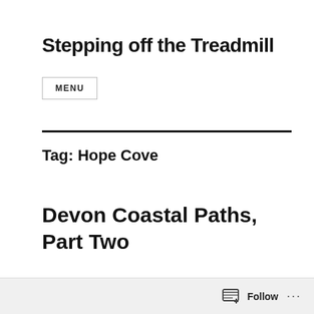Stepping off the Treadmill
MENU
Tag: Hope Cove
Devon Coastal Paths, Part Two
Follow ...